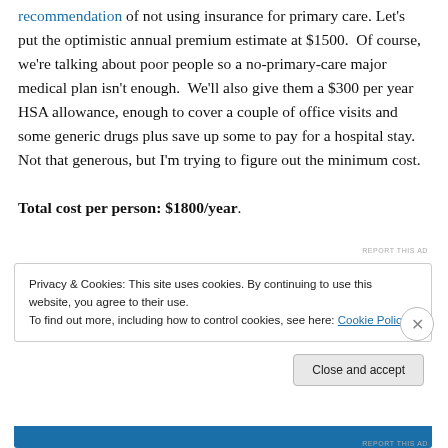recommendation of not using insurance for primary care. Let's put the optimistic annual premium estimate at $1500. Of course, we're talking about poor people so a no-primary-care major medical plan isn't enough. We'll also give them a $300 per year HSA allowance, enough to cover a couple of office visits and some generic drugs plus save up some to pay for a hospital stay. Not that generous, but I'm trying to figure out the minimum cost. Total cost per person: $1800/year.
REPORT THIS AD
Privacy & Cookies: This site uses cookies. By continuing to use this website, you agree to their use. To find out more, including how to control cookies, see here: Cookie Policy
Close and accept